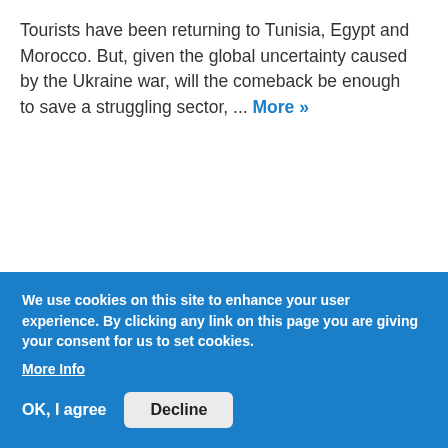Tourists have been returning to Tunisia, Egypt and Morocco. But, given the global uncertainty caused by the Ukraine war, will the comeback be enough to save a struggling sector, ... More »
[Figure (photo): Three men sitting against a wall, one holding a sign reading 'Justice Delayed Justice Denied - Kashmiri Samiti Delhi (Regd.)']
"The Kashmir Files"
Serving up Indian...
We use cookies on this site to enhance your user experience. By clicking any link on this page you are giving your consent for us to set cookies. More Info